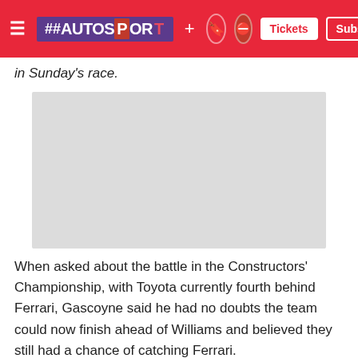AUTOSPORT + Tickets Subscribe
in Sunday's race.
[Figure (photo): Grey placeholder image, likely a racing photograph]
When asked about the battle in the Constructors' Championship, with Toyota currently fourth behind Ferrari, Gascoyne said he had no doubts the team could now finish ahead of Williams and believed they still had a chance of catching Ferrari.